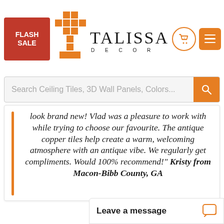FLASH SALE | TALISSA DECOR | 0 | menu icon | Search Ceiling Tiles, 3D Wall Panels, Colors...
look brand new! Vlad was a pleasure to work with while trying to choose our favourite. The antique copper tiles help create a warm, welcoming atmosphere with an antique vibe. We regularly get compliments. Would 100% recommend!" Kristy from Macon-Bibb County, GA
Leave a message